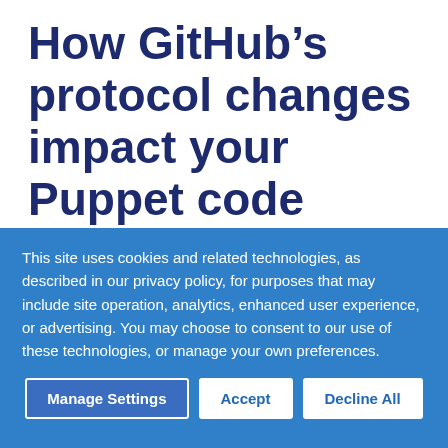How GitHub's protocol changes impact your Puppet code deployments
This site uses cookies and related technologies, as described in our privacy policy, for purposes that may include site operation, analytics, enhanced user experience, or advertising. You may choose to consent to our use of these technologies, or manage your own preferences.